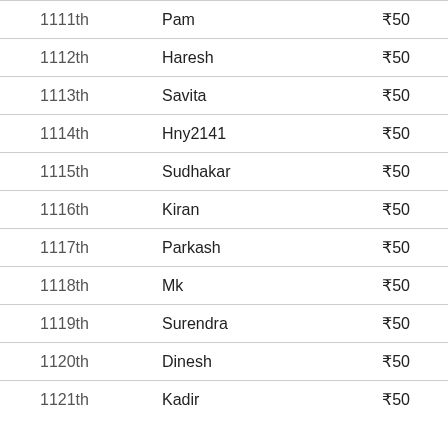| Rank | Name | Amount |
| --- | --- | --- |
| 1111th | Pam | ₹50 |
| 1112th | Haresh | ₹50 |
| 1113th | Savita | ₹50 |
| 1114th | Hny2141 | ₹50 |
| 1115th | Sudhakar | ₹50 |
| 1116th | Kiran | ₹50 |
| 1117th | Parkash | ₹50 |
| 1118th | Mk | ₹50 |
| 1119th | Surendra | ₹50 |
| 1120th | Dinesh | ₹50 |
| 1121th | Kadir | ₹50 |